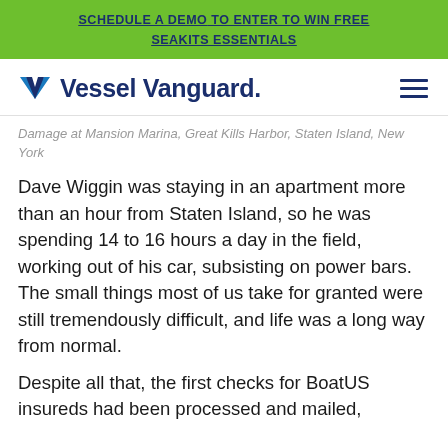SCHEDULE A DEMO TO ENTER TO WIN FREE SEAKITS ESSENTIALS
[Figure (logo): Vessel Vanguard logo with chevron V icon and hamburger menu icon]
Damage at Mansion Marina, Great Kills Harbor, Staten Island, New York
Dave Wiggin was staying in an apartment more than an hour from Staten Island, so he was spending 14 to 16 hours a day in the field, working out of his car, subsisting on power bars. The small things most of us take for granted were still tremendously difficult, and life was a long way from normal.
Despite all that, the first checks for BoatUS insureds had been processed and mailed,